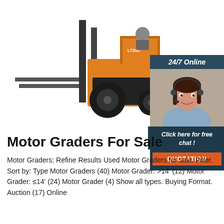[Figure (photo): Yellow and black forklift (LT550) with a driver, on white background, front-left view showing forks and mast]
[Figure (infographic): 24/7 Online chat widget with female customer service agent wearing headset, dark navy blue background, 'Click here for free chat!' text and orange QUOTATION button]
Motor Graders For Sale
Motor Graders; Refine Results Used Motor Graders for sale. Filter. Sort by: Type Motor Graders (40) Motor Grader: >14' (12) Motor Grader: ≤14' (24) Motor Grader (4) Show all types. Buying Format. Auction (17) Online